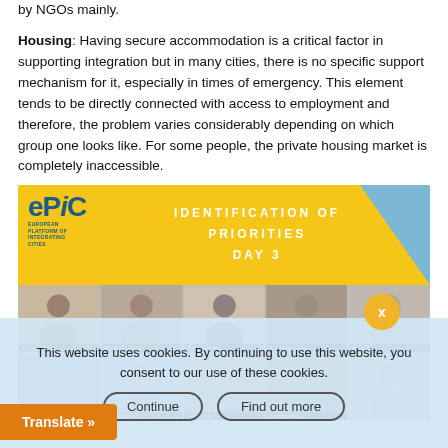by NGOs mainly.

Housing: Having secure accommodation is a critical factor in supporting integration but in many cities, there is no specific support mechanism for it, especially in times of emergency. This element tends to be directly connected with access to employment and therefore, the problem varies considerably depending on which group one looks like. For some people, the private housing market is completely inaccessible.
[Figure (screenshot): Screenshot of an EPIC (European Platform of Integrating Cities) online meeting titled 'IDENTIFICATION OF PRIORITIES DAY 3', showing a video conference grid with approximately 10 participants visible in their video tiles, overlaid by a cookie consent banner and a Translate button.]